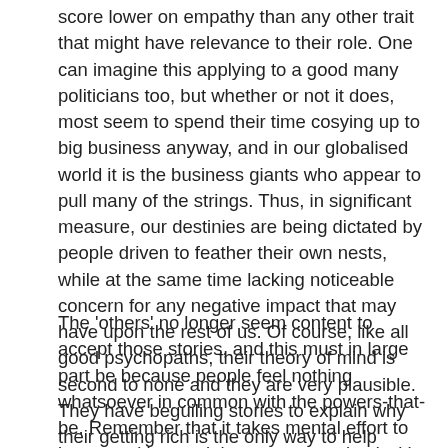score lower on empathy than any other trait that might have relevance to their role. One can imagine this applying to a good many politicians too, but whether or not it does, most seem to spend their time cosying up to big business anyway, and in our globalised world it is the business giants who appear to pull many of the strings. Thus, in significant measure, our destinies are being dictated by people driven to feather their own nests, while at the same time lacking noticeable concern for any negative impact that may have upon the rest of us. Of course, like all good psychopaths, their theory of mind is second to none and they are very plausible. They have beguiling stories to explain why their getting rich is the only way to help others.
The 'others' no longer seem content to accept those stories, and this must in large part be because people feel nothing whatsoever in common with the powers-that-be. Remember that it takes mental effort to interact with a social group; we evolved with the ability to operate in a relatively modest clan, much like the macaques. A rather defenceless creature such as ourselves (relatively small and slow, no big teeth or claws) benefitted enormously by acting in concert with others, but there is a downside. For sure, the bigger the group the more